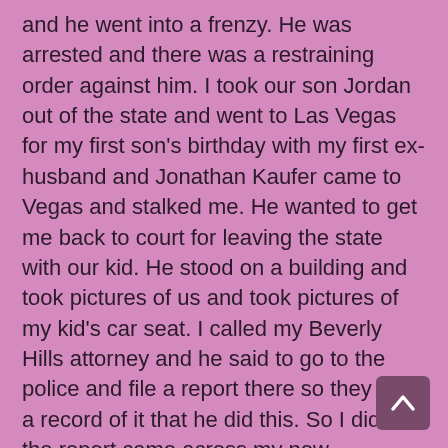and he went into a frenzy. He was arrested and there was a restraining order against him. I took our son Jordan out of the state and went to Las Vegas for my first son's birthday with my first ex-husband and Jonathan Kaufer came to Vegas and stalked me. He wanted to get me back to court for leaving the state with our kid. He stood on a building and took pictures of us and took pictures of my kid's car seat. I called my Beverly Hills attorney and he said to go to the police and file a report there so they have a record of it that he did this. So I did and the report came across my now husband's desk. He looked at it and he said, "Holy crap! Some idiot named their kid Pia Zadora?" But then he realized, this might
[Figure (other): Scroll-to-top button (upward chevron arrow on dark purple/mauve rounded rectangle background)]